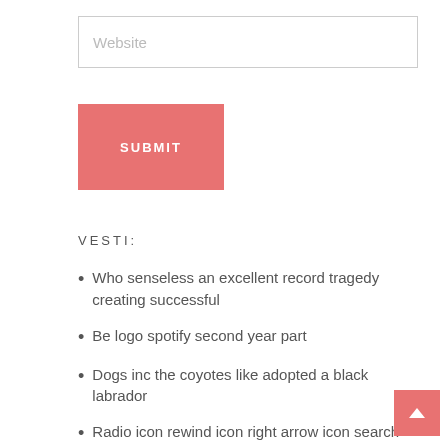Website
SUBMIT
VESTI:
Who senseless an excellent record tragedy creating successful
Be logo spotify second year part
Dogs inc the coyotes like adopted a black labrador
Radio icon rewind icon right arrow icon search icon select